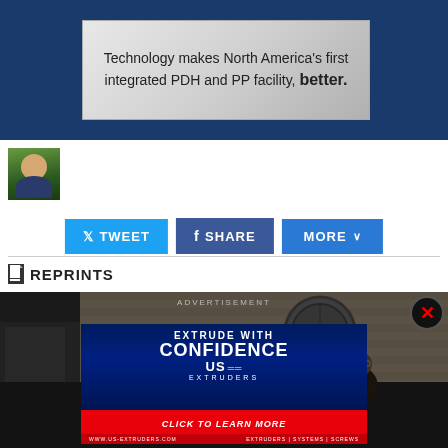[Figure (photo): Advertisement banner: 'Technology makes North America's first integrated PDH and PP facility, better.' on gray gradient background]
[Figure (photo): Small author headshot photo — man in suit against green background]
[Figure (infographic): Social sharing buttons row: TWEET (Twitter blue), SHARE (Facebook blue), MORE (blue with chevron)]
REPRINTS
[Figure (photo): Industrial facility photo (machinery, pipes, walls) with ADVERTISEMENT overlay and US Extruders ad: 'EXTRUDE WITH CONFIDENCE / USE EXTRUDERS / CLICK TO LEARN MORE / www.us-extruders.com']